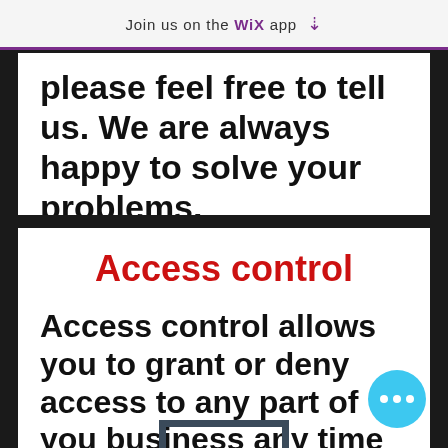Join us on the WiX app ↓
please feel free to tell us. We are always happy to solve your problems.
Access control
Access control allows you to grant or deny access to any part of you business any time